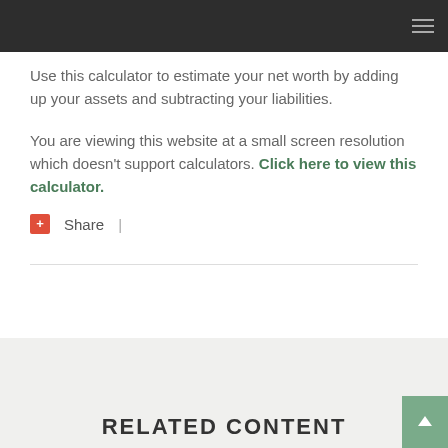Use this calculator to estimate your net worth by adding up your assets and subtracting your liabilities.
You are viewing this website at a small screen resolution which doesn't support calculators. Click here to view this calculator.
+ Share |
RELATED CONTENT